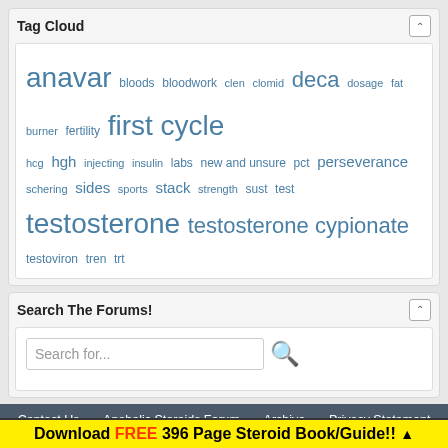Tag Cloud
anavar bloods bloodwork clen clomid deca dosage fat burner fertility first cycle hcg hgh injecting insulin labs new and unsure pct perseverance schering sides sports stack strength sust test testosterone testosterone cypionate testoviron tren trt
Search The Forums!
Search for...
Contact Us  Anabolic Steroids Forum  Archive  Privacy Statement  Top
All times are GMT -6. The time now is 02:52 PM.
Powered by vBulletin® Version 4.2.5
Download FREE 396 Page Steroid Book/Guide!! ▲